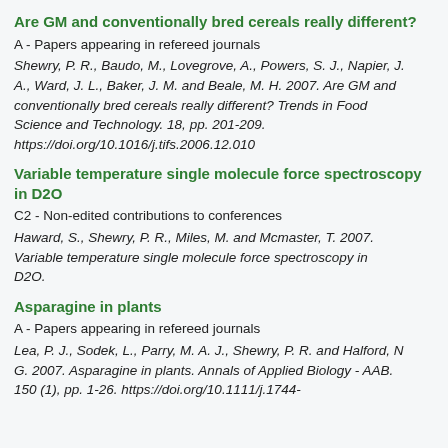Are GM and conventionally bred cereals really different?
A - Papers appearing in refereed journals
Shewry, P. R., Baudo, M., Lovegrove, A., Powers, S. J., Napier, J. A., Ward, J. L., Baker, J. M. and Beale, M. H. 2007. Are GM and conventionally bred cereals really different? Trends in Food Science and Technology. 18, pp. 201-209. https://doi.org/10.1016/j.tifs.2006.12.010
Variable temperature single molecule force spectroscopy in D2O
C2 - Non-edited contributions to conferences
Haward, S., Shewry, P. R., Miles, M. and Mcmaster, T. 2007. Variable temperature single molecule force spectroscopy in D2O.
Asparagine in plants
A - Papers appearing in refereed journals
Lea, P. J., Sodek, L., Parry, M. A. J., Shewry, P. R. and Halford, N. G. 2007. Asparagine in plants. Annals of Applied Biology - AAB. 150 (1), pp. 1-26. https://doi.org/10.1111/j.1744-